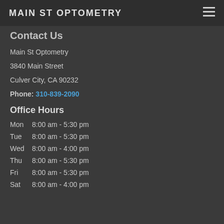MAIN ST OPTOMETRY
Contact Us
Main St Optometry
3840 Main Street
Culver City, CA 90232
Phone: 310-839-2090
Office Hours
Mon   8:00 am - 5:30 pm
Tue   8:00 am - 5:30 pm
Wed  8:00 am - 4:00 pm
Thu   8:00 am - 5:30 pm
Fri    8:00 am - 5:30 pm
Sat   8:00 am - 4:00 pm